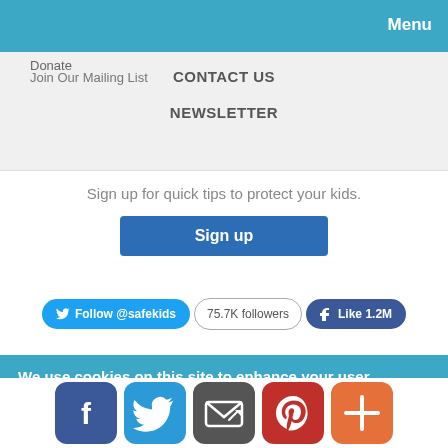Menu
Donate
Join Our Mailing List
CONTACT US
NEWSLETTER
Sign up for quick tips to protect your kids.
Sign up
Follow @safekids
75.7K followers
Like 1.2M
We use cookies on this site to enhance your user experience
By clicking any link on this page you are giving your consent for us to set cookies. No, give me more info
[Figure (infographic): Bottom social media share icons: Facebook, Twitter, Email, Pinterest, and Plus buttons]